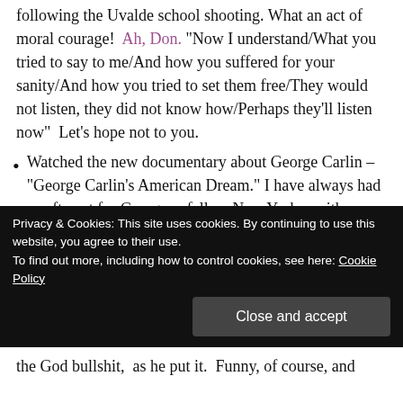following the Uvalde school shooting. What an act of moral courage!  Ah, Don. "Now I understand/What you tried to say to me/And how you suffered for your sanity/And how you tried to set them free/They would not listen, they did not know how/Perhaps they'll listen now"  Let's hope not to you.
Watched the new documentary about George Carlin – "George Carlin's American Dream." I have always had a soft spot for George, a fellow New Yorker with a Catholic upbringing, and a good-hearted guy who generously offered to help me years ago when I was fired from a teaching position for ostensibly playing a recording of his seven words that you can never say on television.  The real reasons for my firing were
Privacy & Cookies: This site uses cookies. By continuing to use this website, you agree to their use.
To find out more, including how to control cookies, see here: Cookie Policy
the God bullshit,  as he put it.  Funny, of course, and